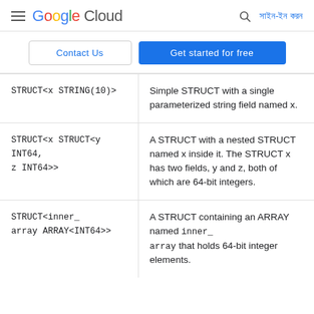Google Cloud — সাইন-ইন করন
Contact Us | Get started for free
|  |  |
| --- | --- |
| STRUCT<x STRING(10)> | Simple STRUCT with a single parameterized string field named x. |
| STRUCT<x STRUCT<y INT64, z INT64>> | A STRUCT with a nested STRUCT named x inside it. The STRUCT x has two fields, y and z, both of which are 64-bit integers. |
| STRUCT<inner_array ARRAY<INT64>> | A STRUCT containing an ARRAY named inner_array that holds 64-bit integer elements. |